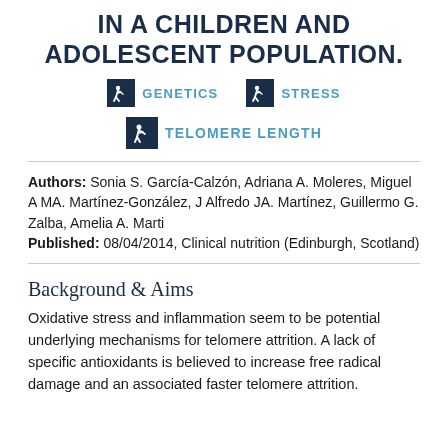IN A CHILDREN AND ADOLESCENT POPULATION.
[Figure (infographic): Two tag icons with labels: GENETICS and STRESS, and a third tag icon with label TELOMERE LENGTH]
Authors: Sonia S. García-Calzón, Adriana A. Moleres, Miguel A MA. Martínez-González, J Alfredo JA. Martínez, Guillermo G. Zalba, Amelia A. Marti
Published: 08/04/2014, Clinical nutrition (Edinburgh, Scotland)
Background & Aims
Oxidative stress and inflammation seem to be potential underlying mechanisms for telomere attrition. A lack of specific antioxidants is believed to increase free radical damage and an associated faster telomere attrition.